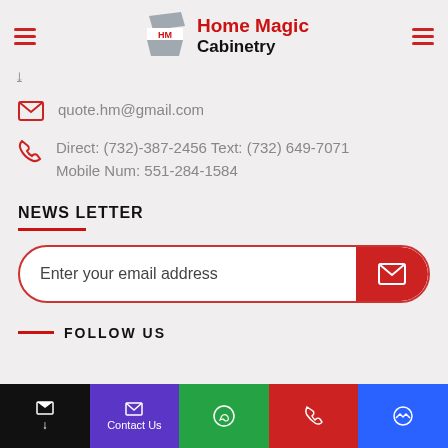Home Magic Cabinetry
quote.hm@gmail.com
Direct: (732)-387-2456 Text: (732) 649-7071 Mobile Num: 551-284-1584
NEWS LETTER
Enter your email address
FOLLOW US
Contact Us